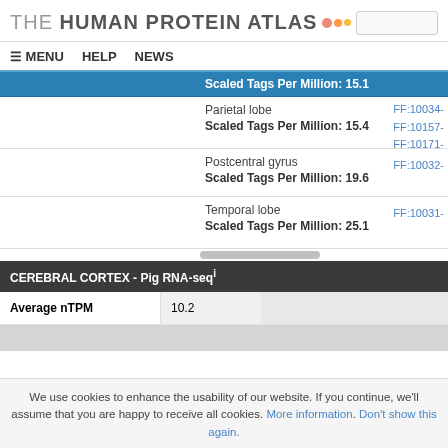THE HUMAN PROTEIN ATLAS
≡ MENU   HELP   NEWS
Scaled Tags Per Million: 15.1
| Tissue | Scaled Tags Per Million | Links |
| --- | --- | --- |
| Parietal lobe | 15.4 | FF:10034- FF:10157- FF:10171- |
| Postcentral gyrus | 19.6 | FF:10032- |
| Temporal lobe | 25.1 | FF:10031- |
CEREBRAL CORTEX - Pig RNA-seq
| Average nTPM | Value |
| --- | --- |
| Average nTPM | 10.2 |
We use cookies to enhance the usability of our website. If you continue, we'll assume that you are happy to receive all cookies. More information. Don't show this again.